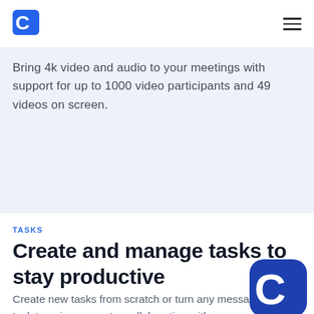[Figure (logo): Clinked 'C' logo in blue at top left of navigation bar]
[Figure (logo): Hamburger menu icon (three horizontal lines) at top right of navigation bar]
Bring 4k video and audio to your meetings with support for up to 1000 video participants and 49 videos on screen.
TASKS
Create and manage tasks to stay productive
Create new tasks from scratch or turn any message into a task to enjoy a smarter collaboration with your
[Figure (logo): Large Clinked 'C' logo watermark at bottom right corner]